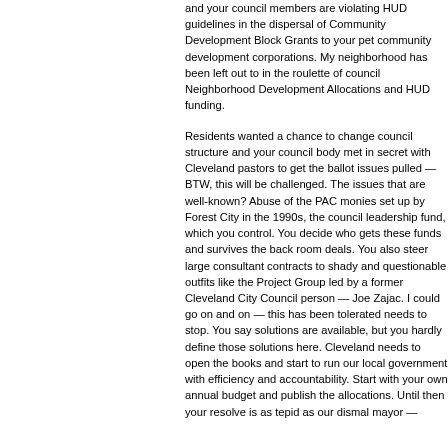and your council members are violating HUD guidelines in the dispersal of Community Development Block Grants to your pet community development corporations. My neighborhood has been left out to in the roulette of council Neighborhood Development Allocations and HUD funding.
Residents wanted a chance to change council structure and your council body met in secret with Cleveland pastors to get the ballot issues pulled — BTW, this will be challenged. The issues that are well-known? Abuse of the PAC monies set up by Forest City in the 1990s, the council leadership fund, which you control. You decide who gets these funds and survives the back room deals. You also steer large consultant contracts to shady and questionable outfits like the Project Group led by a former Cleveland City Council person — Joe Zajac. I could go on and on — this has been tolerated needs to stop. You say solutions are available, but you hardly define those solutions here. Cleveland needs to open the books and start to run our local government with efficiency and accountability. Start with your own annual budget and publish the allocations. Until then your resolve is as tepid as our dismal mayor —